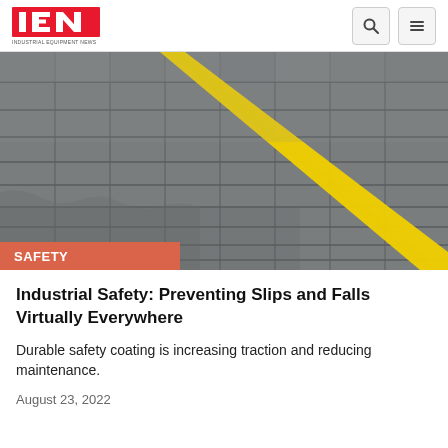IEN INDUSTRIAL EQUIPMENT NEWS
[Figure (photo): Industrial floor with grey textured tiles and a yellow diagonal stripe line marking a safety zone in a warehouse or factory setting]
SAFETY
Industrial Safety: Preventing Slips and Falls Virtually Everywhere
Durable safety coating is increasing traction and reducing maintenance.
August 23, 2022